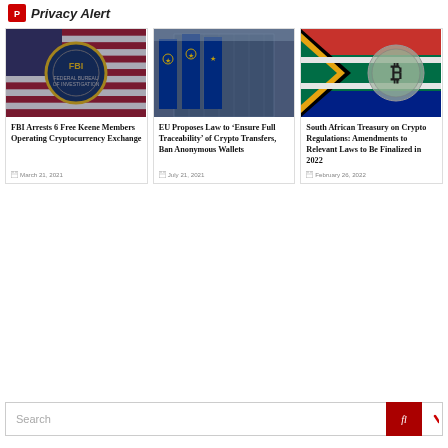Privacy Alert
[Figure (photo): FBI seal overlaid on an American flag]
FBI Arrests 6 Free Keene Members Operating Cryptocurrency Exchange
March 21, 2021
[Figure (photo): European Union flags in front of a building]
EU Proposes Law to ‘Ensure Full Traceability’ of Crypto Transfers, Ban Anonymous Wallets
July 21, 2021
[Figure (photo): South African flag with a Bitcoin coin overlaid]
South African Treasury on Crypto Regulations: Amendments to Relevant Laws to Be Finalized in 2022
February 26, 2022